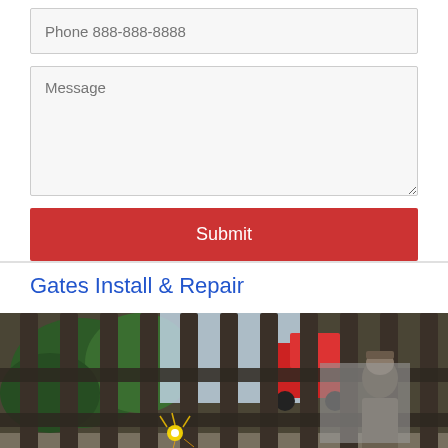Phone 888-888-8888
Message
Submit
Gates Install & Repair
[Figure (photo): Photo of a metal gate or railing being repaired/welded, showing a worker and welding sparks, with green foliage and a red truck visible in the background]